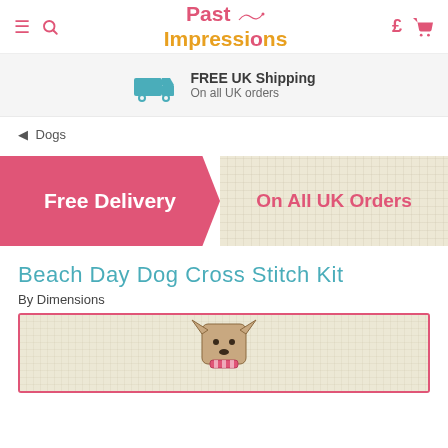Past Impressions
FREE UK Shipping On all UK orders
◄ Dogs
[Figure (infographic): Promotional banner: pink left section with 'Free Delivery' text and zigzag edge, cream/linen textured right section with 'On All UK Orders' in pink text]
Beach Day Dog Cross Stitch Kit
By Dimensions
[Figure (photo): Partial product photo showing the top of a cross stitch dog on a cream/linen aida fabric background with a pink border, dog appears to be a French Bulldog in beach attire]